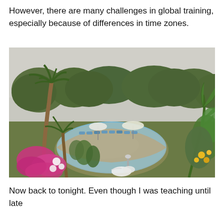However, there are many challenges in global training, especially because of differences in time zones.
[Figure (photo): Outdoor tropical resort swimming pool surrounded by lush palm trees, tropical plants, pink bougainvillea flowers, yellow flowers, green foliage, pool loungers and umbrellas visible in the background.]
Now back to tonight. Even though I was teaching until late